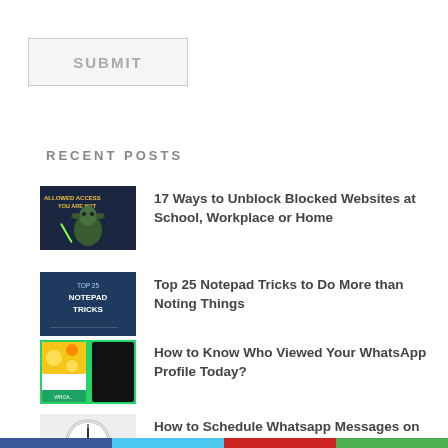SUBMIT
RECENT POSTS
17 Ways to Unblock Blocked Websites at School, Workplace or Home
Top 25 Notepad Tricks to Do More than Noting Things
How to Know Who Viewed Your WhatsApp Profile Today?
How to Schedule Whatsapp Messages on Android